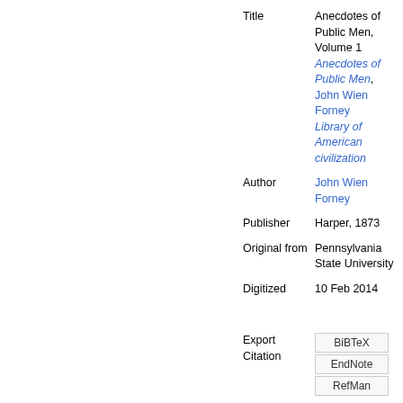| Field | Value |
| --- | --- |
| Title | Anecdotes of Public Men, Volume 1
Anecdotes of Public Men, John Wien Forney
Library of American civilization |
| Author | John Wien Forney |
| Publisher | Harper, 1873 |
| Original from | Pennsylvania State University |
| Digitized | 10 Feb 2014 |
| Export Citation | BiBTeX | EndNote | RefMan |